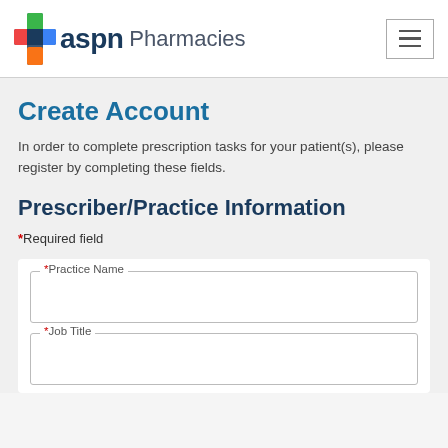[Figure (logo): ASPN Pharmacies logo with colorful cross icon and text]
Create Account
In order to complete prescription tasks for your patient(s), please register by completing these fields.
Prescriber/Practice Information
*Required field
*Practice Name (form field)
*Job Title (form field)